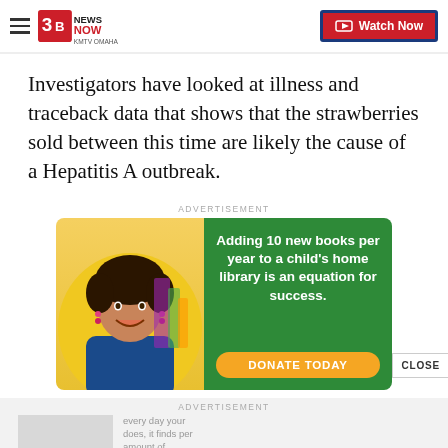3B News Now KMTV Omaha | Watch Now
Investigators have looked at illness and traceback data that shows that the strawberries sold between this time are likely the cause of a Hepatitis A outbreak.
ADVERTISEMENT
[Figure (illustration): Advertisement banner with photo of a smiling young girl and green text area reading 'Adding 10 new books per year to a child's home library is an equation for success.' with an orange 'DONATE TODAY' button.]
ADVERTISEMENT